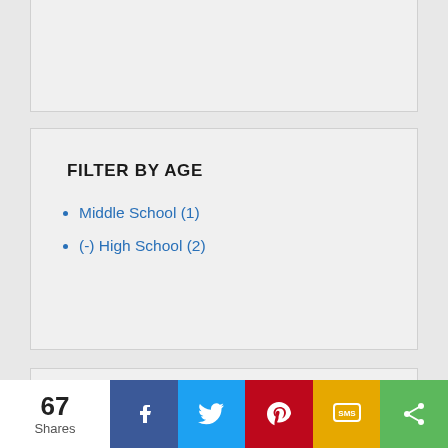FILTER BY AGE
Middle School (1)
(-) High School (2)
FILTER BY INTEREST
Creative Performing Arts (1)
Israel (1)